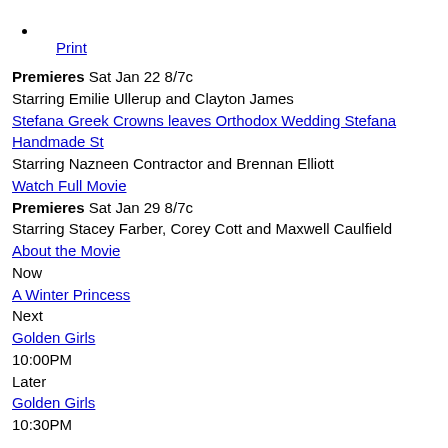Print
Premieres Sat Jan 22 8/7c
Starring Emilie Ullerup and Clayton James
Stefana Greek Crowns leaves Orthodox Wedding Stefana Handmade St
Starring Nazneen Contractor and Brennan Elliott
Watch Full Movie
Premieres Sat Jan 29 8/7c
Starring Stacey Farber, Corey Cott and Maxwell Caulfield
About the Movie
Now
A Winter Princess
Next
Golden Girls
10:00PM
Later
Golden Girls
10:30PM